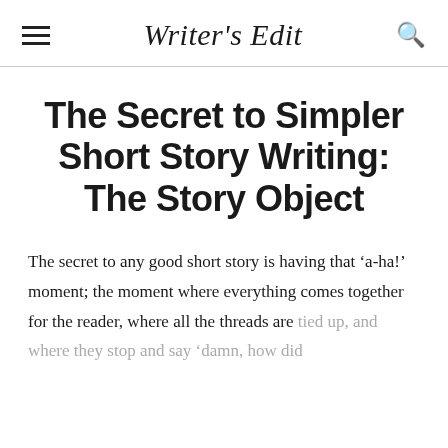Writer's Edit
The Secret to Simpler Short Story Writing: The Story Object
The secret to any good short story is having that 'a-ha!' moment; the moment where everything comes together for the reader, where all the threads are tied up, and where they stop and say 'damn, how did